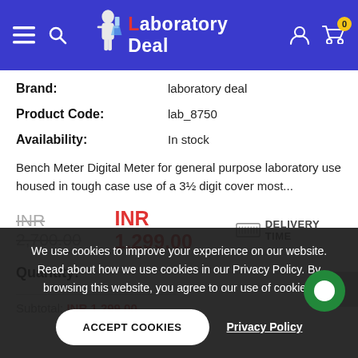Laboratory Deal
Brand: laboratory deal
Product Code: lab_8750
Availability: In stock
Bench Meter Digital Meter for general purpose laboratory use housed in tough case use of a 3½ digit cover most...
INR 2,700.00  INR 1,299.00   DELIVERY TIME
Quantity:
Subtotal: INR 1,299.00
We use cookies to improve your experience on our website. Read about how we use cookies in our Privacy Policy. By browsing this website, you agree to our use of cookies.
ACCEPT COOKIES
Privacy Policy